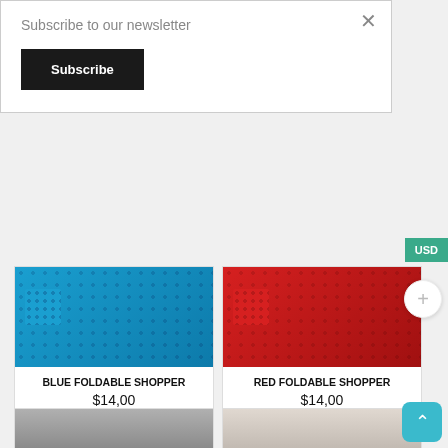Subscribe to our newsletter
Subscribe
[Figure (photo): Blue foldable shopper bag with diamond pattern texture, shown folded and with small accessory]
BLUE FOLDABLE SHOPPER
$14,00
Sold By : Carte-Blanche Design
Add to cart
[Figure (photo): Red foldable shopper bag with diamond pattern texture, shown folded and with small accessory]
RED FOLDABLE SHOPPER
$14,00
Sold By : Carte-Blanche Design
Add to cart